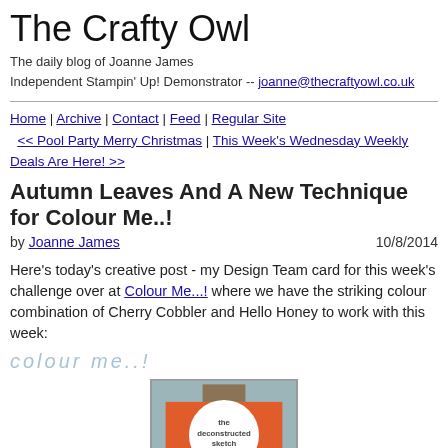The Crafty Owl
The daily blog of Joanne James
Independent Stampin' Up! Demonstrator -- joanne@thecraftyowl.co.uk
Home | Archive | Contact | Feed | Regular Site
<< Pool Party Merry Christmas | This Week's Wednesday Weekly Deals Are Here! >>
Autumn Leaves And A New Technique for Colour Me..!
by Joanne James   10/8/2014
Here's today's creative post - my Design Team card for this week's challenge over at Colour Me...! where we have the striking colour combination of Cherry Cobbler and Hello Honey to work with this week:
[Figure (illustration): Faded watermark text reading 'colour me..!' in light blue]
[Figure (illustration): The deconstructed sketch DS171 card layout diagram with orange rectangle and circle on teal background]